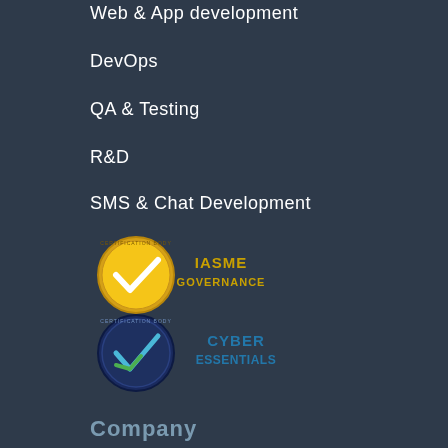Web & App development
DevOps
QA & Testing
R&D
SMS & Chat Development
[Figure (logo): IASME Governance certification body badge - gold circular badge with white checkmark and IASME GOVERNANCE text]
[Figure (logo): Cyber Essentials certification body badge - dark blue circular badge with blue/green checkmark and CYBER ESSENTIALS text]
Company
Contact Us
About
E-learning